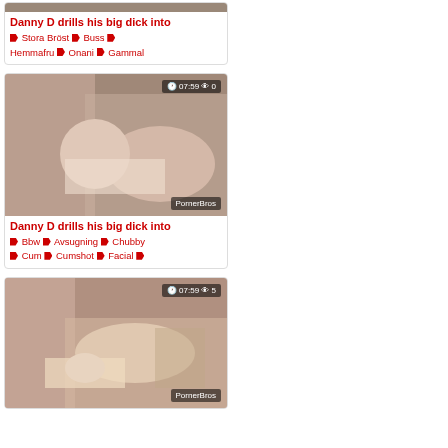[Figure (photo): Partial thumbnail image at top of page, cropped video thumbnail]
Danny D drills his big dick into
🏷 Stora Bröst 🏷 Buss 🏷 Hemmafru 🏷 Onani 🏷 Gammal
[Figure (photo): Video thumbnail showing two people, duration 07:59, 0 views, watermark PornerBros]
Danny D drills his big dick into
🏷 Bbw 🏷 Avsugning 🏷 Chubby 🏷 Cum 🏷 Cumshot 🏷 Facial 🏷
[Figure (photo): Video thumbnail showing two people, duration 07:59, 5 views, watermark PornerBros]